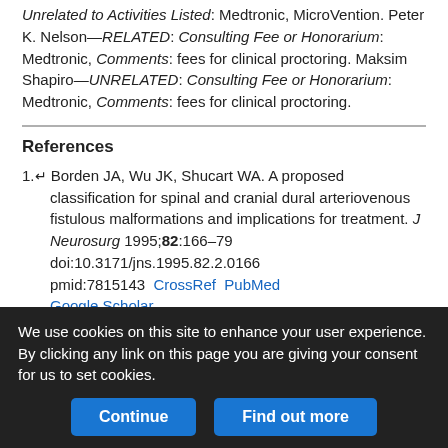Unrelated to Activities Listed: Medtronic, MicroVention. Peter K. Nelson—RELATED: Consulting Fee or Honorarium: Medtronic, Comments: fees for clinical proctoring. Maksim Shapiro—UNRELATED: Consulting Fee or Honorarium: Medtronic, Comments: fees for clinical proctoring.
References
1. Borden JA, Wu JK, Shucart WA. A proposed classification for spinal and cranial dural arteriovenous fistulous malformations and implications for treatment. J Neurosurg 1995;82:166–79 doi:10.3171/jns.1995.82.2.0166 pmid:7815143 CrossRef PubMed Google Scholar
2. Cognard C, Gobin YP, Pierot L, et al. Cerebral dural arteriovenous
We use cookies on this site to enhance your user experience. By clicking any link on this page you are giving your consent for us to set cookies.